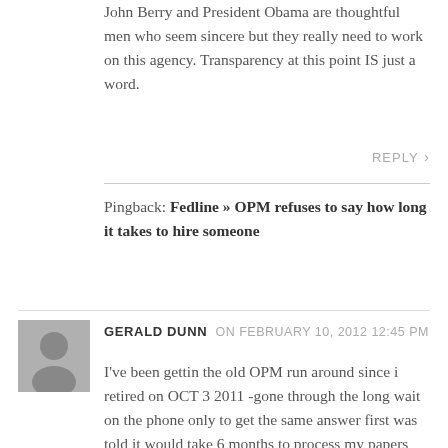John Berry and President Obama are thoughtful men who seem sincere but they really need to work on this agency. Transparency at this point IS just a word.
REPLY
Pingback: Fedline » OPM refuses to say how long it takes to hire someone
GERALD DUNN on FEBRUARY 10, 2012 12:45 PM
I've been gettin the old OPM run around since i retired on OCT 3 2011 -gone through the long wait on the phone only to get the same answer first was told it would take 6 months to process my papers then four months then back to six monthe now ten months am sick every day i think about all this and even wrote a complaint to the OIG for opm at first i thought he would help but now i was wrong -this is what you get after working for the government for